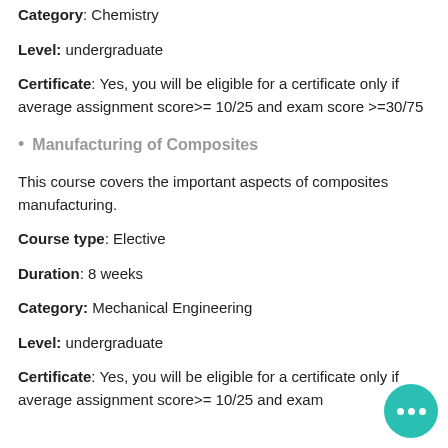Category: Chemistry
Level: undergraduate
Certificate: Yes, you will be eligible for a certificate only if average assignment score>= 10/25 and exam score >=30/75
Manufacturing of Composites
This course covers the important aspects of composites manufacturing.
Course type: Elective
Duration: 8 weeks
Category: Mechanical Engineering
Level: undergraduate
Certificate: Yes, you will be eligible for a certificate only if average assignment score>= 10/25 and exam